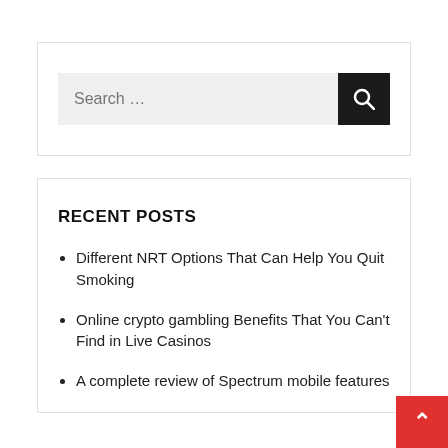[Figure (screenshot): Search input box with placeholder text 'Search ...' and a dark search button with magnifying glass icon]
RECENT POSTS
Different NRT Options That Can Help You Quit Smoking
Online crypto gambling Benefits That You Can't Find in Live Casinos
A complete review of Spectrum mobile features